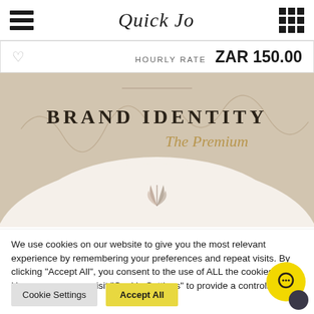Quick Jo
HOURLY RATE ZAR 150.00
[Figure (illustration): Brand Identity - The Premium promotional banner with beige/tan background, decorative wavy lines, bold text 'BRAND IDENTITY' and italic gold script 'The Premium', white curved arch shape at bottom with a leaf illustration]
We use cookies on our website to give you the most relevant experience by remembering your preferences and repeat visits. By clicking "Accept All", you consent to the use of ALL the cookies. However, you may visit "Cookie Settings" to provide a controlled consent.
Cookie Settings   Accept All